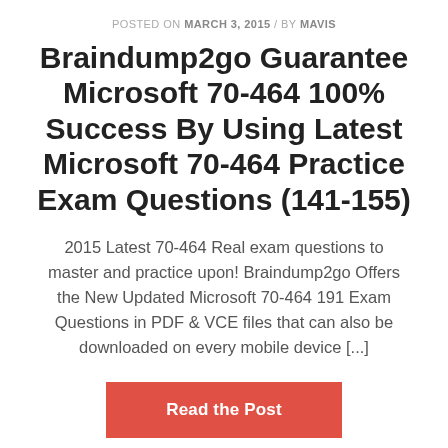POSTED ON MARCH 3, 2015 / BY MAVIS
Braindump2go Guarantee Microsoft 70-464 100% Success By Using Latest Microsoft 70-464 Practice Exam Questions (141-155)
2015 Latest 70-464 Real exam questions to master and practice upon! Braindump2go Offers the New Updated Microsoft 70-464 191 Exam Questions in PDF & VCE files that can also be downloaded on every mobile device [...]
Read the Post